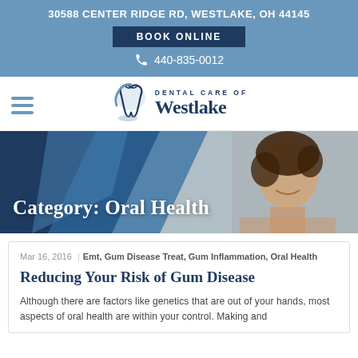30588 CENTER RIDGE RD, WESTLAKE, OH 44145
BOOK ONLINE
440-835-0012
[Figure (logo): Dental Care of Westlake logo with tooth icon and hamburger menu]
[Figure (photo): Category banner with text 'Category: Oral Health' over a blue geometric background and a smiling woman]
Mar 16, 2016 | Emt, Gum Disease Treat, Gum Inflammation, Oral Health
Reducing Your Risk of Gum Disease
Although there are factors like genetics that are out of your hands, most aspects of oral health are within your control. Making and